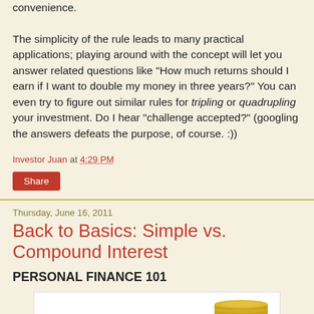convenience.

The simplicity of the rule leads to many practical applications; playing around with the concept will let you answer related questions like "How much returns should I earn if I want to double my money in three years?" You can even try to figure out similar rules for tripling or quadrupling your investment. Do I hear "challenge accepted?" (googling the answers defeats the purpose, of course. :))
Investor Juan at 4:29 PM
Share
Thursday, June 16, 2011
Back to Basics: Simple vs. Compound Interest
PERSONAL FINANCE 101
[Figure (photo): Stacked gold coins image on white background]